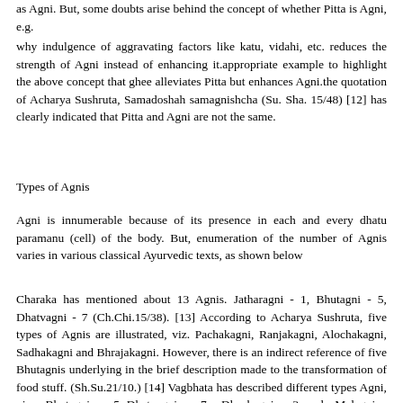as Agni. But, some doubts arise behind the concept of whether Pitta is Agni, e.g.
why indulgence of aggravating factors like katu, vidahi, etc. reduces the strength of Agni instead of enhancing it.appropriate example to highlight the above concept that ghee alleviates Pitta but enhances Agni.the quotation of Acharya Sushruta, Samadoshah samagnishcha (Su. Sha. 15/48) [12] has clearly indicated that Pitta and Agni are not the same.
Types of Agnis
Agni is innumerable because of its presence in each and every dhatu paramanu (cell) of the body. But, enumeration of the number of Agnis varies in various classical Ayurvedic texts, as shown below
Charaka has mentioned about 13 Agnis. Jatharagni - 1, Bhutagni - 5, Dhatvagni - 7 (Ch.Chi.15/38). [13] According to Acharya Sushruta, five types of Agnis are illustrated, viz. Pachakagni, Ranjakagni, Alochakagni, Sadhakagni and Bhrajakagni. However, there is an indirect reference of five Bhutagnis underlying in the brief description made to the transformation of food stuff. (Sh.Su.21/10.) [14] Vagbhata has described different types Agni, viz. -Bhutagnis - 5,-Dhatvagnis - 7, -Dhoshagni - 3 and- Malagni - 3.Sharangadhara has recognized five pittas only (Pachak, Bhrajak, Ranjak, Alochaka and Sadhak) (Sha.Sa.Pu.Kh.-5/32). [15] Bhavamishra has followed Acharya Charaka and